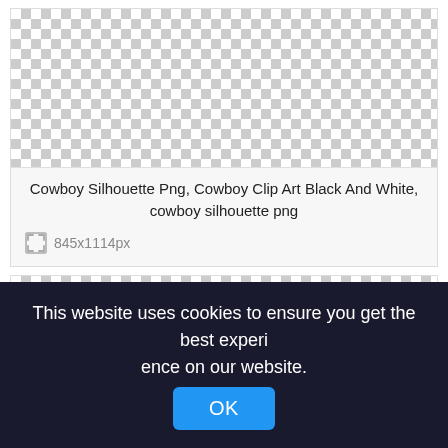[Figure (illustration): Checkerboard transparency pattern representing a PNG image of a cowboy silhouette (top card)]
Cowboy Silhouette Png, Cowboy Clip Art Black And White, cowboy silhouette png
845x1114px
[Figure (illustration): Checkerboard transparency pattern representing a second PNG image (bottom card)]
This website uses cookies to ensure you get the best experience on our website.